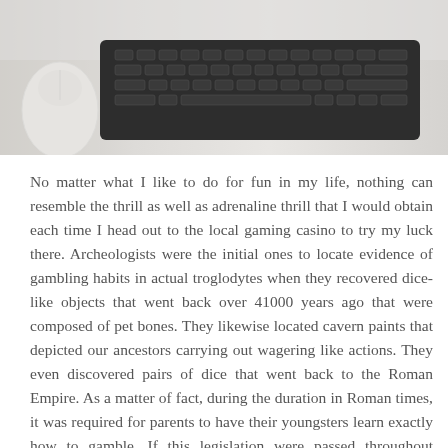[Figure (photo): A partial view of a laptop keyboard and white mouse on a light-colored desk, shown as a cropped image at the top of the page.]
No matter what I like to do for fun in my life, nothing can resemble the thrill as well as adrenaline thrill that I would obtain each time I head out to the local gaming casino to try my luck there. Archeologists were the initial ones to locate evidence of gambling habits in actual troglodytes when they recovered dice-like objects that went back over 41000 years ago that were composed of pet bones. They likewise located cavern paints that depicted our ancestors carrying out wagering like actions. They even discovered pairs of dice that went back to the Roman Empire. As a matter of fact, during the duration in Roman times, it was required for parents to have their youngsters learn exactly how to gamble. If this legislation were passed throughout contemporary times, parents would be at an uproar over it, so in this facet. The